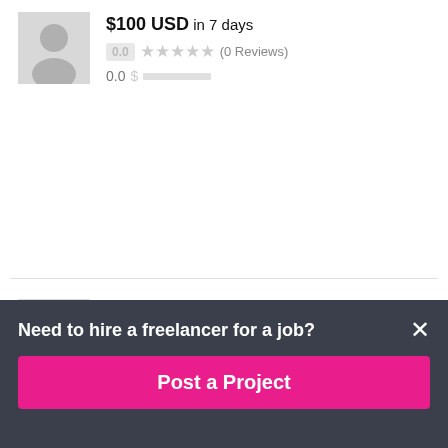[Figure (screenshot): Freelancer profile card (partially visible at top) showing avatar, $100 USD in 7 days, 0.0 rating, 0 Reviews, 0.0 score with gray progress bar]
[Figure (screenshot): Freelancer profile card for 'fxart' with Romanian flag, $100 USD in 15 days, 0.0 rating, 0 Reviews, 0.8 score with green progress bar]
Need to hire a freelancer for a job?
Post a Project